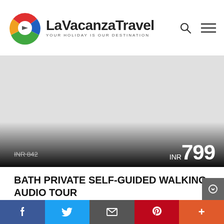LaVacanzaTravel — YOUR HOLIDAY IS OUR DESTINATION
[Figure (other): Hero image placeholder (white/light gray area) for Bath walking tour with price overlay showing original price INR 842 crossed out and new price INR 799]
BATH PRIVATE SELF-GUIDED WALKING AUDIO TOUR
★★★★★ (10) Reviews
Join us on our immersive audio tour as we explore Bath's ancient and